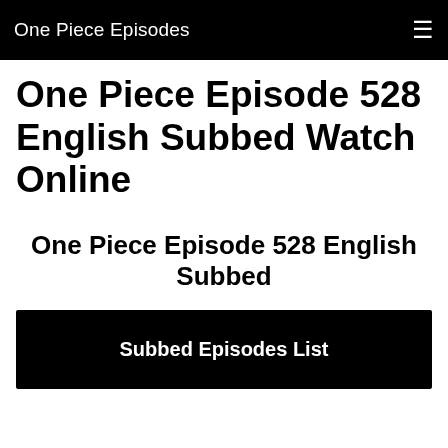One Piece Episodes
One Piece Episode 528 English Subbed Watch Online
One Piece Episode 528 English Subbed
Subbed Episodes List